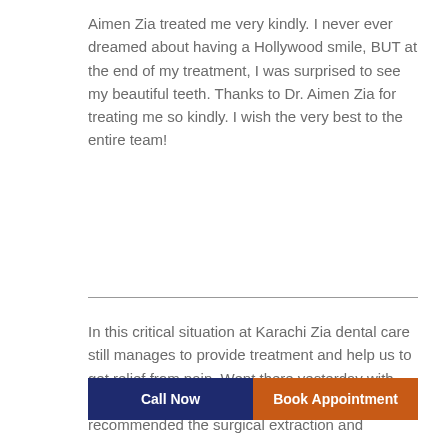Aimen Zia treated me very kindly. I never ever dreamed about having a Hollywood smile, BUT at the end of my treatment, I was surprised to see my beautiful teeth. Thanks to Dr. Aimen Zia for treating me so kindly. I wish the very best to the entire team!
In this critical situation at Karachi Zia dental care still manages to provide treatment and help us to get relief from pain. Went there yesterday with severe wisdom tooth pain. Dr. Aimen Zia recommended the surgical extraction and